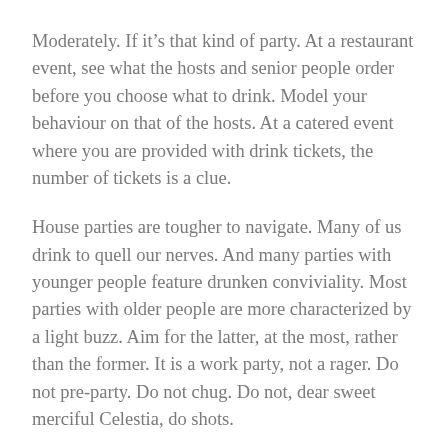Moderately. If it's that kind of party. At a restaurant event, see what the hosts and senior people order before you choose what to drink. Model your behaviour on that of the hosts. At a catered event where you are provided with drink tickets, the number of tickets is a clue.
House parties are tougher to navigate. Many of us drink to quell our nerves. And many parties with younger people feature drunken conviviality. Most parties with older people are more characterized by a light buzz. Aim for the latter, at the most, rather than the former. It is a work party, not a rager. Do not pre-party. Do not chug. Do not, dear sweet merciful Celestia, do shots.